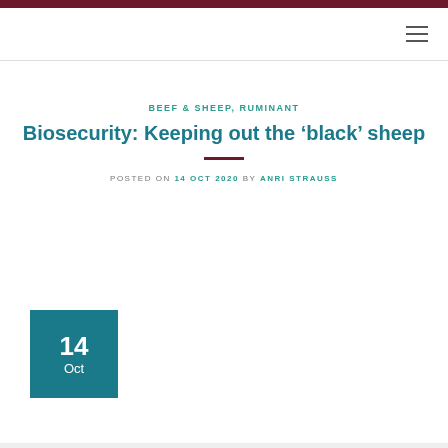BEEF & SHEEP, RUMINANT
Biosecurity: Keeping out the 'black' sheep
POSTED ON 14 OCT 2020 BY ANRI STRAUSS
14 Oct